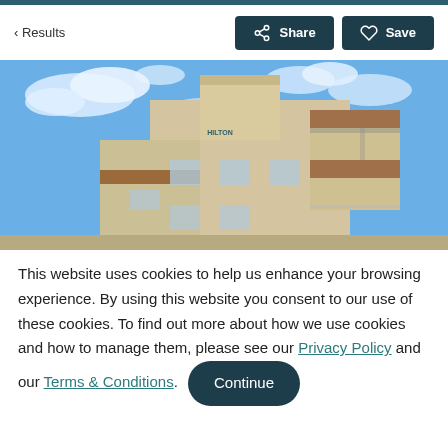< Results | Share | Save
[Figure (photo): Upward-angle photo of a modern multi-story building with beige/tan exterior, wood-paneled balcony soffits, and blue sky with white clouds in the background.]
This website uses cookies to help us enhance your browsing experience. By using this website you consent to our use of these cookies. To find out more about how we use cookies and how to manage them, please see our Privacy Policy and our Terms & Conditions. Continue